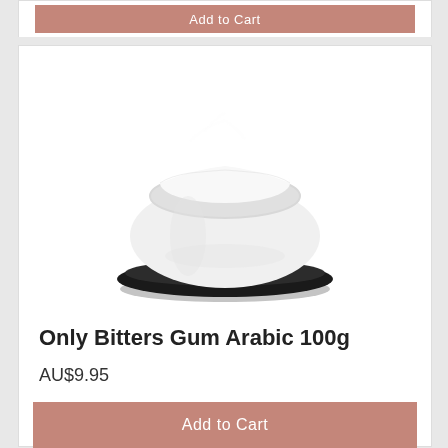[Figure (photo): A white ceramic bowl filled with white powder (Gum Arabic) sitting on a black saucer, photographed on a white background.]
Only Bitters Gum Arabic 100g
AU$9.95
Add to Cart